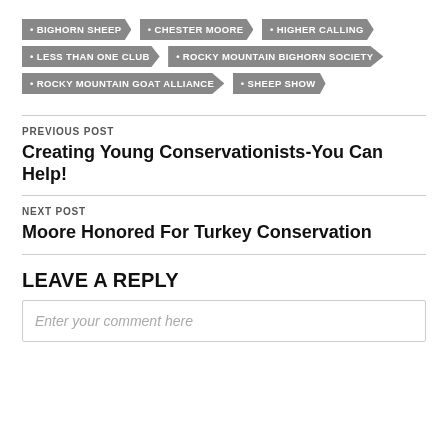BIGHORN SHEEP
CHESTER MOORE
HIGHER CALLING
LESS THAN ONE CLUB
ROCKY MOUNTAIN BIGHORN SOCIETY
ROCKY MOUNTAIN GOAT ALLIANCE
SHEEP SHOW
PREVIOUS POST
Creating Young Conservationists-You Can Help!
NEXT POST
Moore Honored For Turkey Conservation
LEAVE A REPLY
Enter your comment here